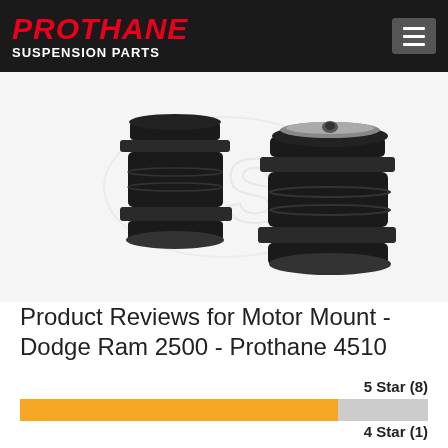PROTHANE SUSPENSION PARTS
[Figure (photo): Two black cylindrical polyurethane motor mount bumpers on white background with DST watermark logo]
Product Reviews for Motor Mount - Dodge Ram 2500 - Prothane 4510
5 Star (8)
[Figure (bar-chart): 5 Star rating bar]
4 Star (1)